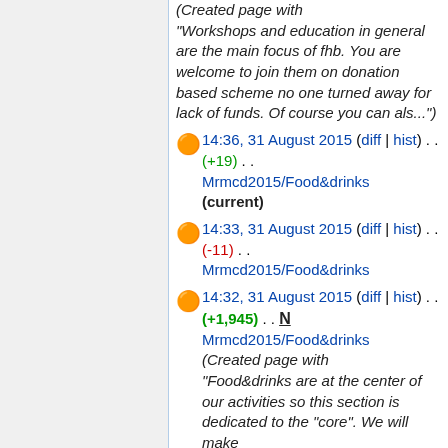(Created page with "Workshops and education in general are the main focus of fhb. You are welcome to join them on donation based scheme no one turned away for lack of funds. Of course you can als...")
14:36, 31 August 2015 (diff | hist) . . (+19) . . Mrmcd2015/Food&drinks (current)
14:33, 31 August 2015 (diff | hist) . . (-11) . . Mrmcd2015/Food&drinks
14:32, 31 August 2015 (diff | hist) . . (+1,945) . . N Mrmcd2015/Food&drinks (Created page with "Food&drinks are at the center of our activities so this section is dedicated to the "core". We will make